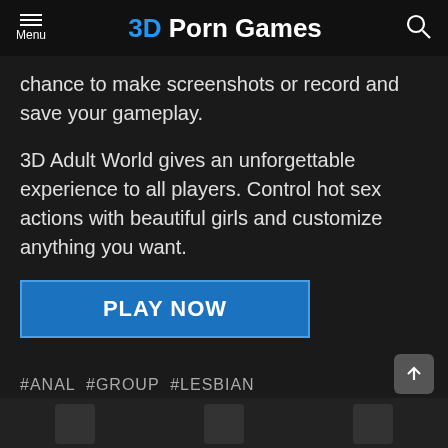3D Porn Games
chance to make screenshots or record and save your gameplay.
3D Adult World gives an unforgettable experience to all players. Control hot sex actions with beautiful girls and customize anything you want.
PLAY NOW
#ANAL #GROUP #LESBIAN
WHAT DO YOU THINK?